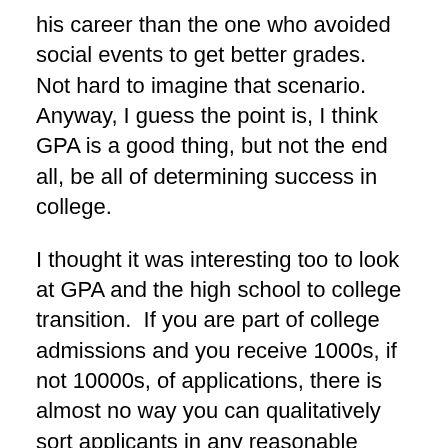his career than the one who avoided social events to get better grades.  Not hard to imagine that scenario.  Anyway, I guess the point is, I think GPA is a good thing, but not the end all, be all of determining success in college.
I thought it was interesting too to look at GPA and the high school to college transition.  If you are part of college admissions and you receive 1000s, if not 10000s, of applications, there is almost no way you can qualitatively sort applicants in any reasonable amount of time.  The ability to quickly sort applicants by GPA is an easy way to trim out students you don't think would be successful.  Are you going to miss some students that would do great at your school?  Of course you will.  I think that there is honestly no surefire way to know how someone will do in college based on any facts you can assemble, but at least using GPA to screen out